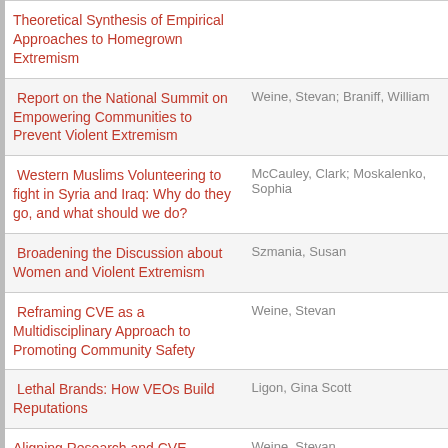| Title | Author(s) |
| --- | --- |
| Theoretical Synthesis of Empirical Approaches to Homegrown Extremism |  |
| Report on the National Summit on Empowering Communities to Prevent Violent Extremism | Weine, Stevan; Braniff, William |
| Western Muslims Volunteering to fight in Syria and Iraq: Why do they go, and what should we do? | McCauley, Clark; Moskalenko, Sophia |
| Broadening the Discussion about Women and Violent Extremism | Szmania, Susan |
| Reframing CVE as a Multidisciplinary Approach to Promoting Community Safety | Weine, Stevan |
| Lethal Brands: How VEOs Build Reputations | Ligon, Gina Scott |
| Aligning Research and CVE | Weine, Stevan |
| [partial row] | Braniff, Willi... |